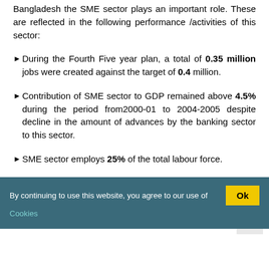Bangladesh the SME sector plays an important role. These are reflected in the following performance /activities of this sector:
During the Fourth Five year plan, a total of 0.35 million jobs were created against the target of 0.4 million.
Contribution of SME sector to GDP remained above 4.5% during the period from2000-01 to 2004-2005 despite decline in the amount of advances by the banking sector to this sector.
SME sector employs 25% of the total labour force.